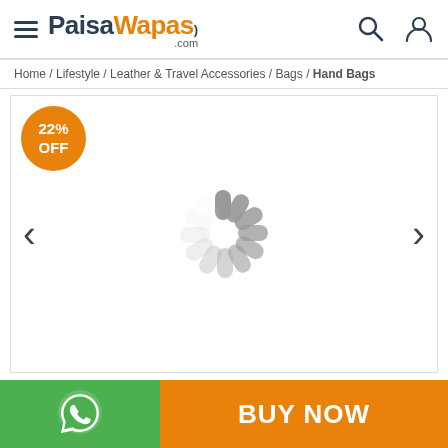PaisaWapas.com — navigation header with hamburger menu, logo, search and user icons
Home / Lifestyle / Leather & Travel Accessories / Bags / Hand Bags
[Figure (screenshot): Product image carousel area showing a loading spinner in the center, a 22% OFF badge in the top-left corner, and left/right navigation arrows on the sides.]
[Figure (logo): WhatsApp icon button on green background (left) and BUY NOW button on orange background (right) in the bottom action bar.]